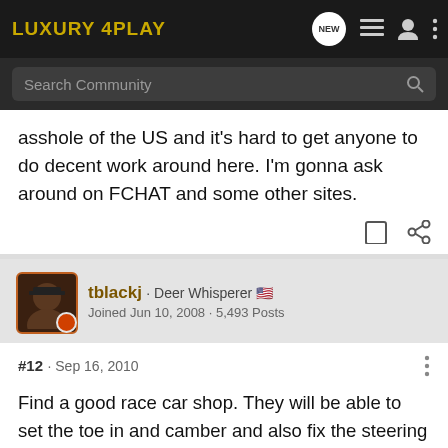[Figure (logo): Luxury 4Play forum logo in gold/yellow on dark background with navigation icons]
Search Community
asshole of the US and it's hard to get anyone to do decent work around here. I'm gonna ask around on FCHAT and some other sites.
tblackj · Deer Whisperer 🇺🇸
Joined Jun 10, 2008 · 5,493 Posts
#12 · Sep 16, 2010
Find a good race car shop. They will be able to set the toe in and camber and also fix the steering wheel. If it is like most of the cars out there, it is no more than tightening a nut.